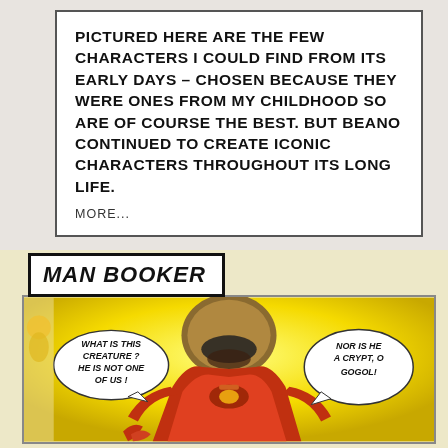PICTURED HERE ARE THE FEW CHARACTERS I COULD FIND FROM ITS EARLY DAYS – CHOSEN BECAUSE THEY WERE ONES FROM MY CHILDHOOD SO ARE OF COURSE THE BEST. BUT BEANO CONTINUED TO CREATE ICONIC CHARACTERS THROUGHOUT ITS LONG LIFE.

MORE...
MAN BOOKER
[Figure (illustration): A vintage comic illustration showing a helmeted armored character in red/orange suit. Two speech bubbles: left reads 'WHAT IS THIS CREATURE? HE IS NOT ONE OF US!' and right reads 'NOR IS HE A CRYPT, O GOGOL!' Background is bright yellow.]